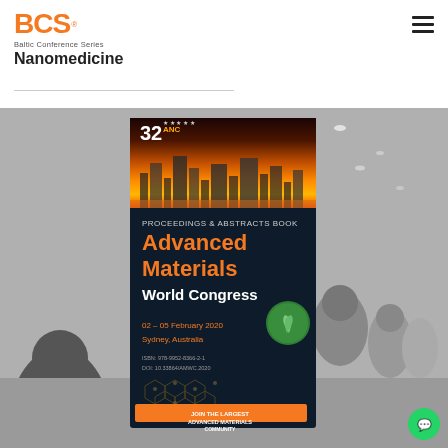[Figure (logo): BCS logo — orange block letters BCS with registered trademark symbol]
Baltic Conference Series
Nanomedicine
[Figure (photo): Conference scene: book cover for 'Advanced Materials World Congress Proceedings & Abstracts Book, 32 ANC, 02-05 February 2020, Sydney, Australia' overlaid on a black and white photo of conference attendees in a hall]